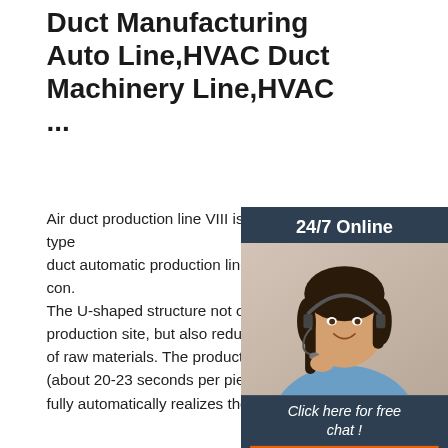Duct Manufacturing Auto Line,HVAC Duct Machinery Line,HVAC ...
Air duct production line VIII is a new type duct automatic production line of our con. The U-shaped structure not only saves t production site, but also reduces the deli of raw materials. The production efficien (about 20-23 seconds per piece). The de fully automatically realizes the fixed size
[Figure (screenshot): 24/7 Online chat widget with a customer service representative photo, 'Click here for free chat!' text and an orange QUOTATION button]
[Figure (photo): Factory interior showing industrial duct manufacturing machinery and equipment in a large warehouse space]